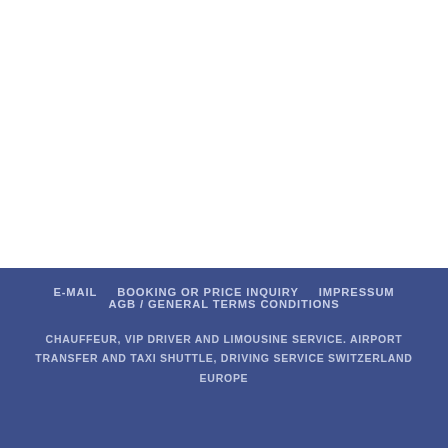E-MAIL   BOOKING OR PRICE INQUIRY   IMPRESSUM   AGB / GENERAL TERMS CONDITIONS
CHAUFFEUR, VIP DRIVER AND LIMOUSINE SERVICE. AIRPORT TRANSFER AND TAXI SHUTTLE, DRIVING SERVICE SWITZERLAND EUROPE